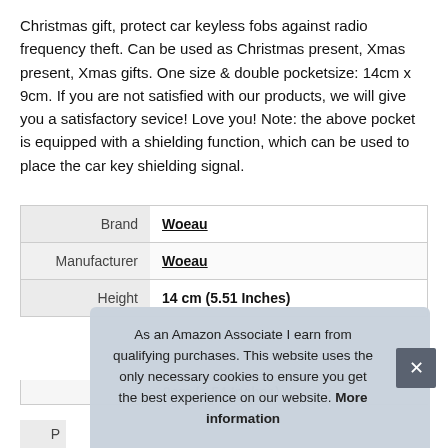Christmas gift, protect car keyless fobs against radio frequency theft. Can be used as Christmas present, Xmas present, Xmas gifts. One size & double pocketsize: 14cm x 9cm. If you are not satisfied with our products, we will give you a satisfactory sevice! Love you! Note: the above pocket is equipped with a shielding function, which can be used to place the car key shielding signal.
|  |  |
| --- | --- |
| Brand | Woeau |
| Manufacturer | Woeau |
| Height | 14 cm (5.51 Inches) |
| Length (partial) | 9cm (3.54 Inches) (partial) |
As an Amazon Associate I earn from qualifying purchases. This website uses the only necessary cookies to ensure you get the best experience on our website. More information